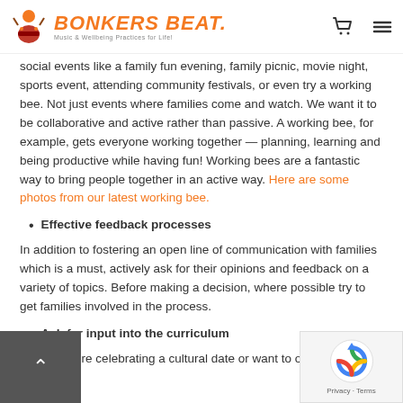Bonkers Beat — Music & Wellbeing Practices for Life!
social events like a family fun evening, family picnic, movie night, sports event, attending community festivals, or even try a working bee. Not just events where families come and watch. We want it to be collaborative and active rather than passive. A working bee, for example, gets everyone working together — planning, learning and being productive while having fun! Working bees are a fantastic way to bring people together in an active way. Here are some photos from our latest working bee.
Effective feedback processes
In addition to fostering an open line of communication with families which is a must, actively ask for their opinions and feedback on a variety of topics. Before making a decision, where possible try to get families involved in the process.
Ask for input into the curriculum
Maybe you're celebrating a cultural date or want to open a